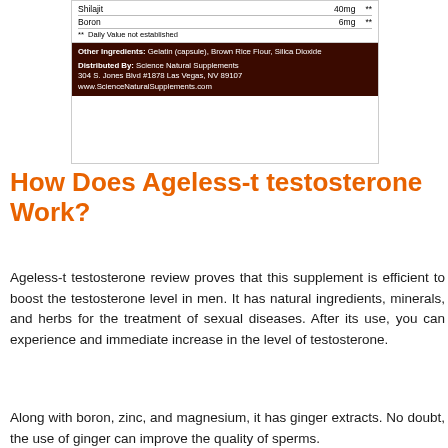[Figure (photo): Supplement facts label showing Shilajit 40mg and Boron 6mg rows with ** Daily Value not established footnote, and a dark brown section listing Other Ingredients (Gelatin capsule, Brown Rice Flour, Silica Dioxide) and Distributed By Science Natural Supplements, 304 S. Jones Blvd #1878 Las Vegas, NV 89107, www.ScienceNaturalSupplements.com]
How Does Ageless-t testosterone Work?
Ageless-t testosterone review proves that this supplement is efficient to boost the testosterone level in men. It has natural ingredients, minerals, and herbs for the treatment of sexual diseases. After its use, you can experience and immediate increase in the level of testosterone.
Along with boron, zinc, and magnesium, it has ginger extracts. No doubt, the use of ginger can improve the quality of sperms.